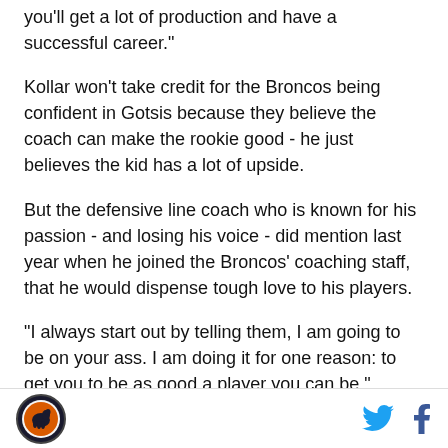you'll get a lot of production and have a successful career."
Kollar won't take credit for the Broncos being confident in Gotsis because they believe the coach can make the rookie good - he just believes the kid has a lot of upside.
But the defensive line coach who is known for his passion - and losing his voice - did mention last year when he joined the Broncos' coaching staff, that he would dispense tough love to his players.
"I always start out by telling them, I am going to be on your ass. I am doing it for one reason: to get you to be as good a player you can be." Kollar said. "They
Logo | Twitter | Facebook